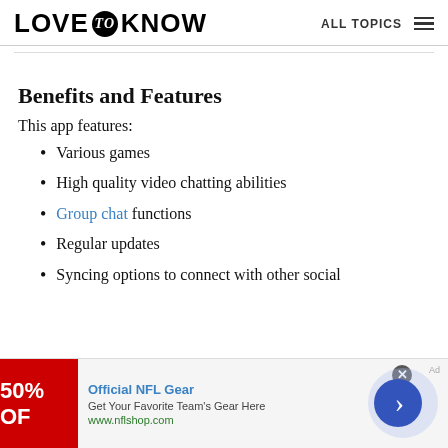LOVE to KNOW   ALL TOPICS
Benefits and Features
This app features:
Various games
High quality video chatting abilities
Group chat functions
Regular updates
Syncing options to connect with other social
[Figure (other): Advertisement banner: Official NFL Gear — Get Your Favorite Team's Gear Here — www.nflshop.com — 50% OFF red banner image]